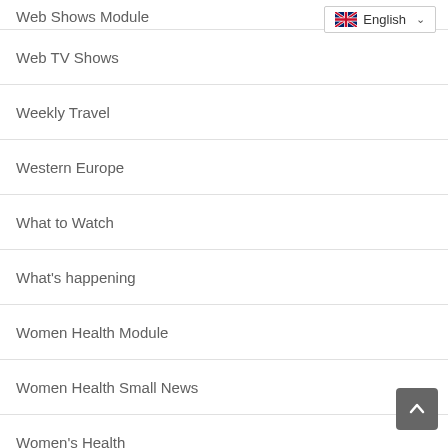Web Shows Module
[Figure (screenshot): English language selector dropdown with UK flag]
Web TV Shows
Weekly Travel
Western Europe
What to Watch
What's happening
Women Health Module
Women Health Small News
Women's Health
Women's Health Guide
Women's Health Guide M...